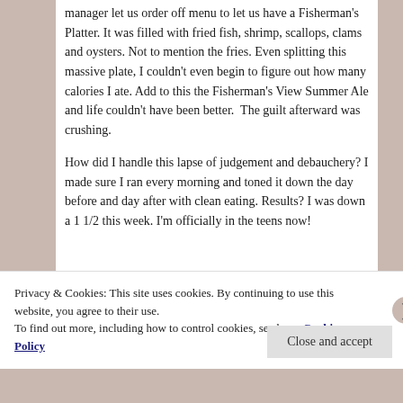manager let us order off menu to let us have a Fisherman's Platter. It was filled with fried fish, shrimp, scallops, clams and oysters. Not to mention the fries. Even splitting this massive plate, I couldn't even begin to figure out how many calories I ate. Add to this the Fisherman's View Summer Ale and life couldn't have been better.  The guilt afterward was crushing.
How did I handle this lapse of judgement and debauchery? I made sure I ran every morning and toned it down the day before and day after with clean eating. Results? I was down a 1 1/2 this week. I'm officially in the teens now!
Privacy & Cookies: This site uses cookies. By continuing to use this website, you agree to their use. To find out more, including how to control cookies, see here: Cookie Policy